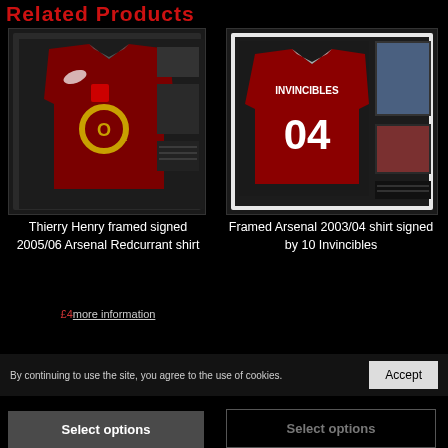Related Products
[Figure (photo): Framed Thierry Henry signed 2005/06 Arsenal Redcurrant shirt in display case with action photos]
[Figure (photo): Framed Arsenal 2003/04 Invincibles shirt signed by 10 Invincibles, displayed in frame with photos]
Thierry Henry framed signed 2005/06 Arsenal Redcurrant shirt
Framed Arsenal 2003/04 shirt signed by 10 Invincibles
more information
By continuing to use the site, you agree to the use of cookies.
Accept
Select options
Select options